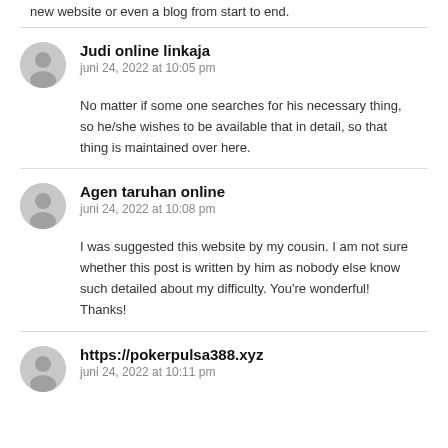new website or even a blog from start to end.
Judi online linkaja
juni 24, 2022 at 10:05 pm

No matter if some one searches for his necessary thing, so he/she wishes to be available that in detail, so that thing is maintained over here.
Agen taruhan online
juni 24, 2022 at 10:08 pm

I was suggested this website by my cousin. I am not sure whether this post is written by him as nobody else know such detailed about my difficulty. You're wonderful! Thanks!
https://pokerpulsa388.xyz
juni 24, 2022 at 10:11 pm